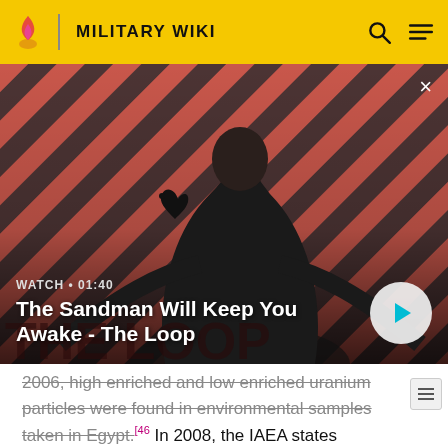MILITARY WIKI
[Figure (screenshot): Video thumbnail overlay showing a dark-cloaked figure with a raven on shoulder against a red and black diagonal striped background. Title card reads 'WATCH • 01:40' and 'The Sandman Will Keep You Awake - The Loop' with a play button on the right.]
2006, high enriched and low enriched uranium particles were found in environmental samples taken in Egypt.[46] In 2008, the IAEA states Egypt's statements were consistent with its own findings.[47] In May 2009, Reuters reported that the IAEA was conducting further investigation in Egypt.[48][49]